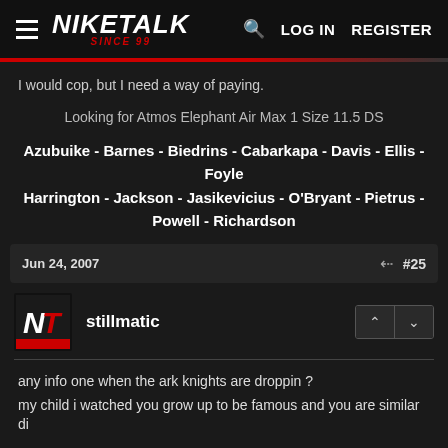NIKETALK SINCE 99 — LOG IN  REGISTER
I would cop, but I need a way of paying.
Looking for Atmos Elephant Air Max 1 Size 11.5 DS
Azubuike - Barnes - Biedrins - Cabarkapa - Davis - Ellis - Foyle Harrington - Jackson - Jasikevicius - O'Bryant - Pietrus - Powell - Richardson
Jun 24, 2007   #25
stillmatic
any info one when the ark knights are droppin ?
my child i watched you grow up to be famous and you are similar di